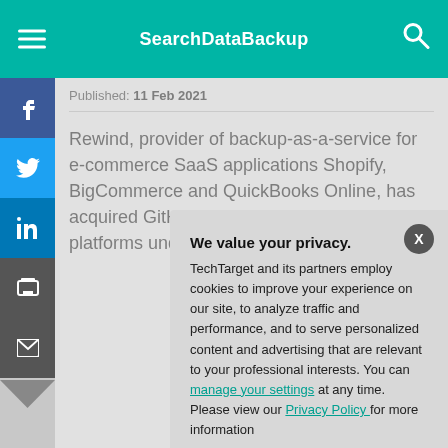SearchDataBackup
Published: 11 Feb 2021
Rewind, provider of backup-as-a-service for e-commerce SaaS applications Shopify, BigCommerce and QuickBooks Online, has acquired GitHub backup provider BackHu[b] ... platforms under
We value your privacy. TechTarget and its partners employ cookies to improve your experience on our site, to analyze traffic and performance, and to serve personalized content and advertising that are relevant to your professional interests. You can manage your settings at any time. Please view our Privacy Policy for more information